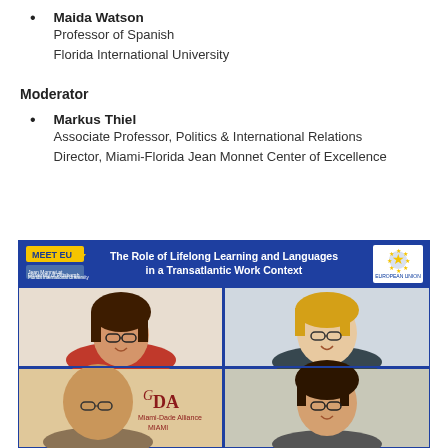Maida Watson
Professor of Spanish
Florida International University
Moderator
Markus Thiel
Associate Professor, Politics & International Relations
Director, Miami-Florida Jean Monnet Center of Excellence
[Figure (screenshot): Screenshot of a webinar titled 'The Role of Lifelong Learning and Languages in a Transatlantic Work Context' with four participants visible in a video grid, featuring MEET EU and European Union branding.]